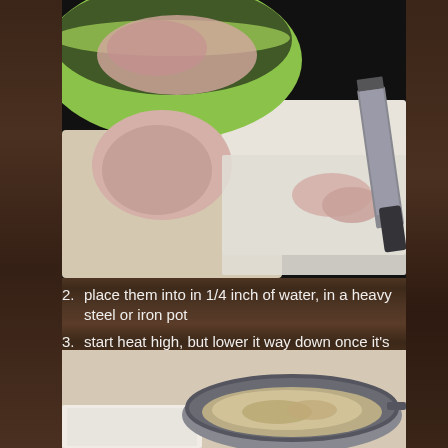[Figure (photo): Raw chicken pieces on a cutting board with a cleaver, and a green bowl with chicken in the background on a dark surface]
2. place them into in 1/4 inch of water, in a heavy steel or iron pot
3. start heat high, but lower it way down once it's warm
4. as clear liquid appears, filter it through a sieve and cheesecloth into glass containers
[Figure (photo): A metal pan with rendered fat or lard and cheesecloth for filtering]